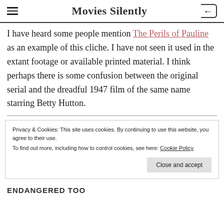Movies Silently
I have heard some people mention The Perils of Pauline as an example of this cliche. I have not seen it used in the extant footage or available printed material. I think perhaps there is some confusion between the original serial and the dreadful 1947 film of the same name starring Betty Hutton.
Privacy & Cookies: This site uses cookies. By continuing to use this website, you agree to their use.
To find out more, including how to control cookies, see here: Cookie Policy
Close and accept
ENDANGERED TOO